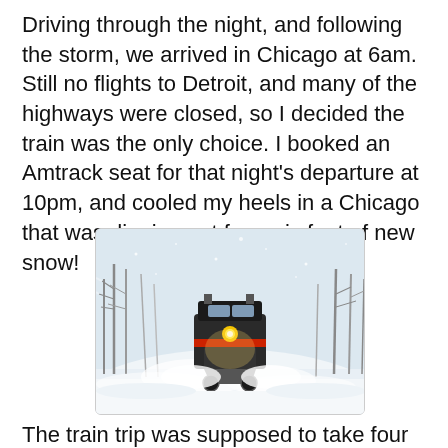Driving through the night, and following the storm, we arrived in Chicago at 6am. Still no flights to Detroit, and many of the highways were closed, so I decided the train was the only choice. I booked an Amtrack seat for that night's departure at 10pm, and cooled my heels in a Chicago that was digging out from six feet of new snow!
[Figure (photo): A train (locomotive) coming head-on through heavy snow, surrounded by snow-covered trees and a white snowy landscape. Snow is spraying off the front of the train.]
The train trip was supposed to take four hours; but the next paragraph elaborates...